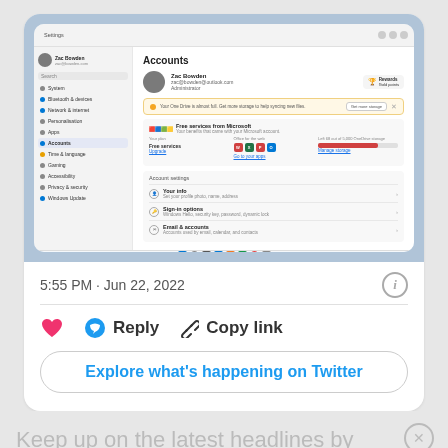[Figure (screenshot): Windows 11 Settings screenshot showing Accounts page with user Zac Bowden, OneDrive storage alert, Microsoft 365 services section, and account settings options including Your info, Sign-in options, and Email & accounts]
5:55 PM · Jun 22, 2022
Reply   Copy link
Explore what's happening on Twitter
Keep up on the latest headlines by following